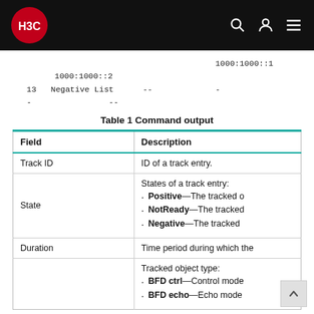H3C
1000:1000::1
1000:1000::2
13   Negative List    --         -
-               --
Table 1 Command output
| Field | Description |
| --- | --- |
| Track ID | ID of a track entry. |
| State | States of a track entry:
· Positive—The tracked o
· NotReady—The tracked
· Negative—The tracked |
| Duration | Time period during which the |
|  | Tracked object type:
· BFD ctrl—Control mode
· BFD echo—Echo mode |